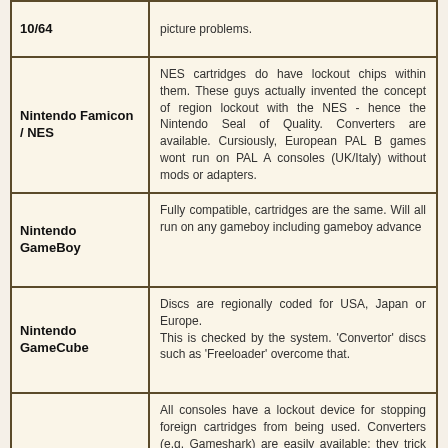| Console | Description |
| --- | --- |
| 10/64 | picture problems. |
| Nintendo Famicon / NES | NES cartridges do have lockout chips within them. These guys actually invented the concept of region lockout with the NES - hence the Nintendo Seal of Quality. Converters are available. Cursiously, European PAL B games wont run on PAL A consoles (UK/Italy) without mods or adapters. |
| Nintendo GameBoy | Fully compatible, cartridges are the same. Will all run on any gameboy including gameboy advance |
| Nintendo GameCube | Discs are regionally coded for USA, Japan or Europe.
This is checked by the system. 'Convertor' discs such as 'Freeloader' overcome that. |
|  | All consoles have a lockout device for stopping foreign cartridges from being used. Converters (e.g. Gameshark) are easily available; they trick the console by accepting two cartridges, the import one which you wish to play, and a local region one so that the console can pass the lockout. The Japanese and US lockout chip is the same but American cartridges |